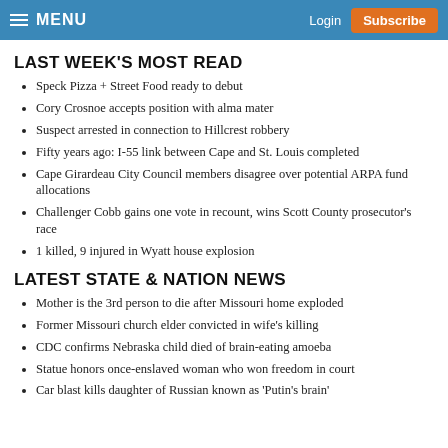MENU  Login  Subscribe
LAST WEEK'S MOST READ
Speck Pizza + Street Food ready to debut
Cory Crosnoe accepts position with alma mater
Suspect arrested in connection to Hillcrest robbery
Fifty years ago: I-55 link between Cape and St. Louis completed
Cape Girardeau City Council members disagree over potential ARPA fund allocations
Challenger Cobb gains one vote in recount, wins Scott County prosecutor's race
1 killed, 9 injured in Wyatt house explosion
LATEST STATE & NATION NEWS
Mother is the 3rd person to die after Missouri home exploded
Former Missouri church elder convicted in wife's killing
CDC confirms Nebraska child died of brain-eating amoeba
Statue honors once-enslaved woman who won freedom in court
Car blast kills daughter of Russian known as 'Putin's brain'